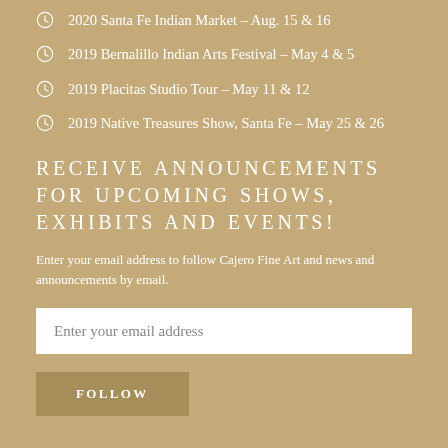2020 Santa Fe Indian Market – Aug. 15 & 16
2019 Bernalillo Indian Arts Festival – May 4 & 5
2019 Placitas Studio Tour – May 11 & 12
2019 Native Treasures Show, Santa Fe – May 25 & 26
RECEIVE ANNOUNCEMENTS FOR UPCOMING SHOWS, EXHIBITS AND EVENTS!
Enter your email address to follow Cajero Fine Art and news and announcements by email.
Enter your email address
FOLLOW